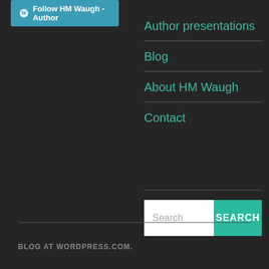[Figure (screenshot): Follow HM Waugh - Author button with WordPress icon, teal/blue background]
Author presentations
Blog
About HM Waugh
Contact
[Figure (screenshot): Search input box with placeholder 'Search' and a teal SEARCH button]
BLOG AT WORDPRESS.COM.